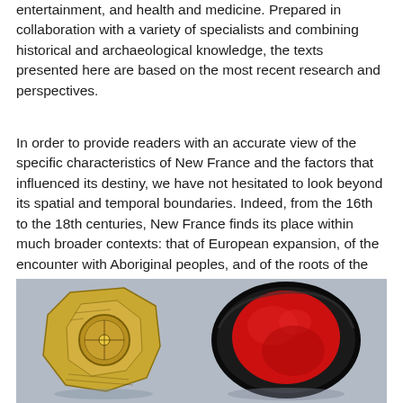entertainment, and health and medicine. Prepared in collaboration with a variety of specialists and combining historical and archaeological knowledge, the texts presented here are based on the most recent research and perspectives.
In order to provide readers with an accurate view of the specific characteristics of New France and the factors that influenced its destiny, we have not hesitated to look beyond its spatial and temporal boundaries. Indeed, from the 16th to the 18th centuries, New France finds its place within much broader contexts: that of European expansion, of the encounter with Aboriginal peoples, and of the roots of the Francophonie in America.
[Figure (photo): Photograph of two historical artifacts on a grey-blue background. On the left, a brass/gold hexagonal or multi-sided object with engraved text and a circular dial or compass element, possibly a sundial or navigational instrument from New France era. On the right, a dark black case open to reveal a large red wax seal inside.]